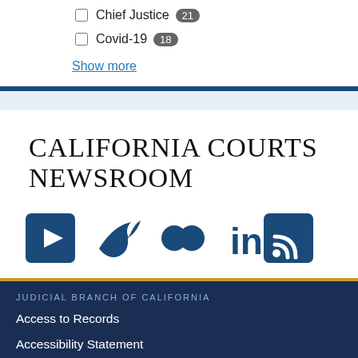Chief Justice 21
Covid-19 18
Show more
CALIFORNIA COURTS NEWSROOM
[Figure (infographic): Social media icons: YouTube, Twitter, Flickr, LinkedIn, RSS]
JUDICIAL BRANCH OF CALIFORNIA
Access to Records
Accessibility Statement